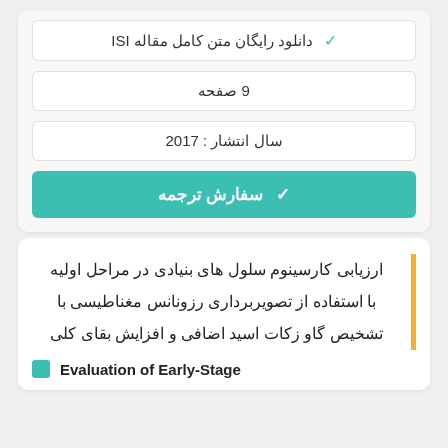✓ دانلود رایگان متن کامل مقاله ISI
9 صفحه
سال انتشار : 2017
✓ سفارش ترجمه
ارزیابی کارسینوم سلول های بنیادی در مراحل اولیه با استفاده از تصویربرداری رزونانس مغناطیسی با تشخیص گاو زکات اسید اضافی و افزایش بقای کلی
Evaluation of Early-Stage